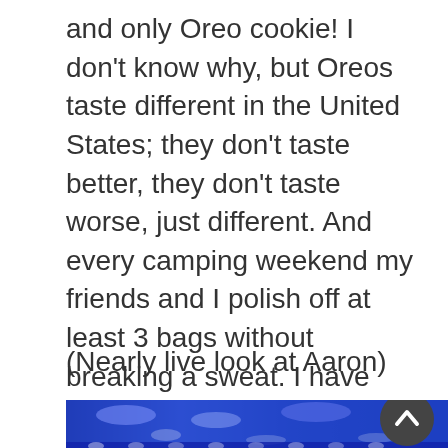and only Oreo cookie! I don't know why, but Oreos taste different in the United States; they don't taste better, they don't taste worse, just different. And every camping weekend my friends and I polish off at least 3 bags without breaking a sweat. I have been eating Oreo cookies for as long as I can remember, and I'm sure that millions of people are the same. Taking the top off of one and eating the creme filling first then the biscuits, or taking the tops of two and making a double Oreo cookie! Excuse me a moment, I need to eat some Oreos.
(Nearly live look at Aaron)
[Figure (photo): A blue-tinted concert or crowd scene photo, partially visible at the bottom of the page, with a dark circular scroll-to-top button overlaid in the bottom right corner.]